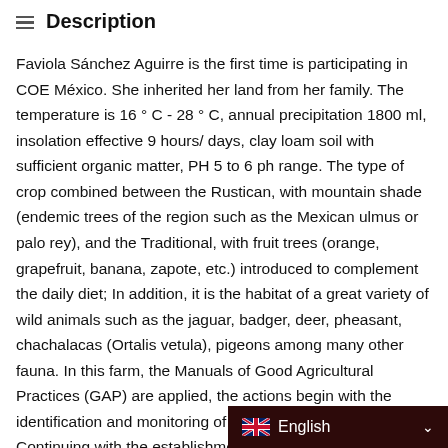Description
Faviola Sánchez Aguirre is the first time is participating in COE México. She inherited her land from her family. The temperature is 16 ° C - 28 ° C, annual precipitation 1800 ml, insolation effective 9 hours/ days, clay loam soil with sufficient organic matter, PH 5 to 6 ph range. The type of crop combined between the Rustican, with mountain shade (endemic trees of the region such as the Mexican ulmus or palo rey), and the Traditional, with fruit trees (orange, grapefruit, banana, zapote, etc.) introduced to complement the daily diet; In addition, it is the habitat of a great variety of wild animals such as the jaguar, badger, deer, pheasant, chachalacas (Ortalis vetula), pigeons among many other fauna. In this farm, the Manuals of Good Agricultural Practices (GAP) are applied, the actions begin with the identification and monitoring of seed donor plants; Continuing with the establishment of the seedlings and seedbeds until the planting of the plant to the final pla…